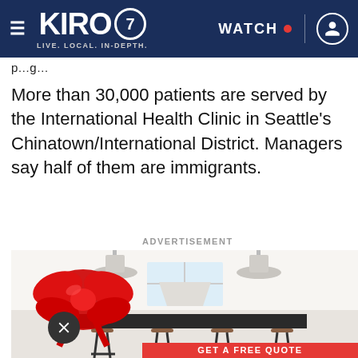KIRO 7 — LIVE. LOCAL. IN-DEPTH. | WATCH
p…g…
More than 30,000 patients are served by the International Health Clinic in Seattle's Chinatown/International District. Managers say half of them are immigrants.
ADVERTISEMENT
[Figure (photo): Advertisement showing a white kitchen with pendant lights, a large island with barstools, a red gift bow overlay, and a 'GET A FREE QUOTE' CTA button at the bottom.]